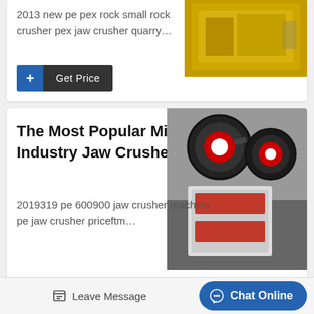2013 new pe pex rock small rock crusher pex jaw crusher quarry…
[Figure (photo): Yellow industrial cabinet/machine in a warehouse]
+ Get Price
The Most Popular Mining Industry Jaw Crusher Pe6…
[Figure (photo): Large red and white jaw crusher machines in a factory]
2019319 pe 600900 jaw crusher machine pe jaw crusher priceftm…
+ Get Price
Oman Crusher Jaw
[Figure (photo): Interior of a large industrial building/factory hall]
Leave Message
Chat Online